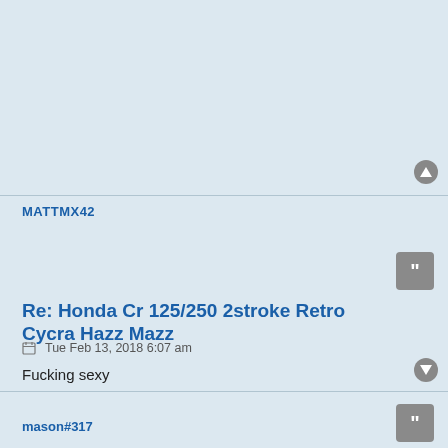MATTMX42
Re: Honda Cr 125/250 2stroke Retro Cycra Hazz Mazz
Tue Feb 13, 2018 6:07 am
Fucking sexy
[Figure (infographic): MX5EMF signature banner for MATT TAYLOR #422 showing xracing stats: RACES 19, MX POINTS 74, XSKILL 209, PODIUMS 1, SX POINTS 40, RSKILL 0, MX WINS 0, BEST LAPS 0, TOTAL 209, SX WINS 0, FAV BIKE 450SXF, RANK BEGINNER. Level 1 badge. MXSEMF.COM]
mason#317